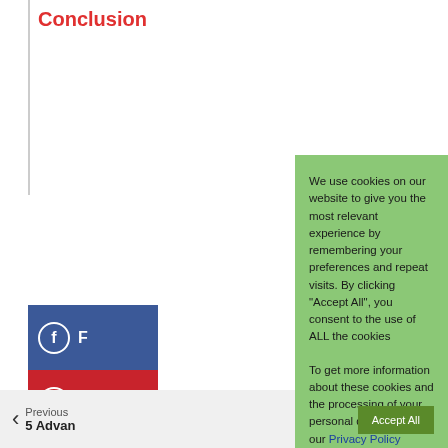Conclusion
[Figure (other): Facebook share button (blue with f icon)]
[Figure (other): Pinterest share button (red with P icon)]
Previous
5 Advan
We use cookies on our website to give you the most relevant experience by remembering your preferences and repeat visits. By clicking “Accept All”, you consent to the use of ALL the cookies
To get more information about these cookies and the processing of your personal data, check our Privacy Policy